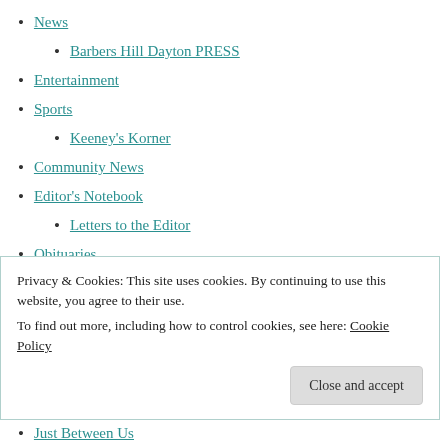News
Barbers Hill Dayton PRESS
Entertainment
Sports
Keeney's Korner
Community News
Editor's Notebook
Letters to the Editor
Obituaries
Columns
Airplanes & Alligators
Apple A Day
Ask the Attorney General
Privacy & Cookies: This site uses cookies. By continuing to use this website, you agree to their use.
To find out more, including how to control cookies, see here: Cookie Policy
Close and accept
Just Between Us